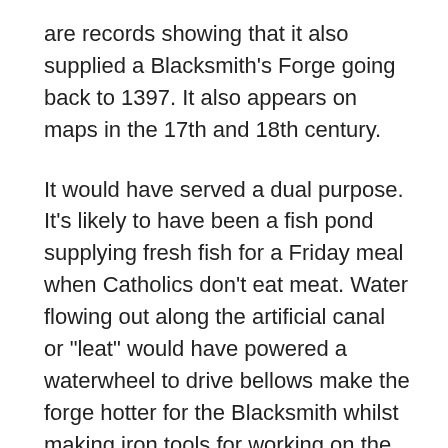are records showing that it also supplied a Blacksmith's Forge going back to 1397. It also appears on maps in the 17th and 18th century.
It would have served a dual purpose. It's likely to have been a fish pond supplying fresh fish for a Friday meal when Catholics don't eat meat. Water flowing out along the artificial canal or "leat" would have powered a waterwheel to drive bellows make the forge hotter for the Blacksmith whilst making iron tools for working on the land.
Later the waterwheel would have supplied power for the Huta Marta Iron works that operated from 1852 till 1928. Around 1858 the mill appeared to have employed 80 men, 92 women and a group of children. It was